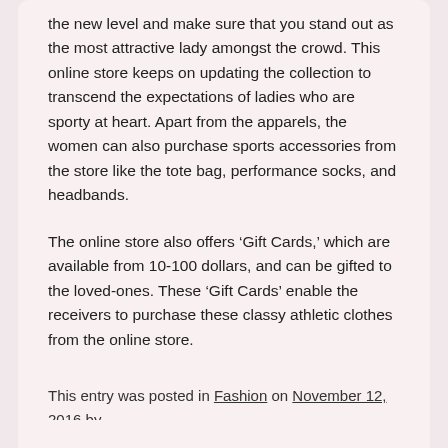the new level and make sure that you stand out as the most attractive lady amongst the crowd. This online store keeps on updating the collection to transcend the expectations of ladies who are sporty at heart. Apart from the apparels, the women can also purchase sports accessories from the store like the tote bag, performance socks, and headbands.
The online store also offers ‘Gift Cards,’ which are available from 10-100 dollars, and can be gifted to the loved-ones. These ‘Gift Cards’ enable the receivers to purchase these classy athletic clothes from the online store.
This entry was posted in Fashion on November 12, 2016 by admin.